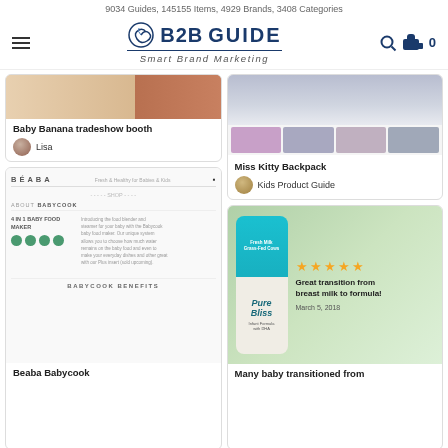9034 Guides, 145155 Items, 4929 Brands, 3408 Categories
[Figure (logo): B2B Guide logo with spiral icon and tagline Smart Brand Marketing]
[Figure (photo): Baby Banana tradeshow booth photo showing booth setup]
Baby Banana tradeshow booth
Lisa
[Figure (screenshot): BEABA Babycook product page screenshot showing 4 in 1 Baby Food Maker with BABYCOOK BENEFITS section]
Beaba Babycook
[Figure (photo): Miss Kitty Backpack product image showing main photo and four thumbnail variants]
Miss Kitty Backpack
Kids Product Guide
[Figure (photo): Pure Bliss infant formula can with review overlay showing 4 stars and text Great transition from breast milk to formula! March 5, 2018]
Many baby transitioned from